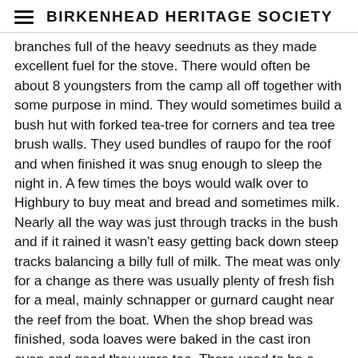BIRKENHEAD HERITAGE SOCIETY
branches full of the heavy seednuts as they made excellent fuel for the stove. There would often be about 8 youngsters from the camp all off together with some purpose in mind. They would sometimes build a bush hut with forked tea-tree for corners and tea tree brush walls. They used bundles of raupo for the roof and when finished it was snug enough to sleep the night in. A few times the boys would walk over to Highbury to buy meat and bread and sometimes milk. Nearly all the way was just through tracks in the bush and if it rained it wasn't easy getting back down steep tracks balancing a billy full of milk. The meat was only for a change as there was usually plenty of fresh fish for a meal, mainly schnapper or gurnard caught near the reef from the boat. When the shop bread was finished, soda loaves were baked in the cast iron oven and good they were too. There used to be a passenger